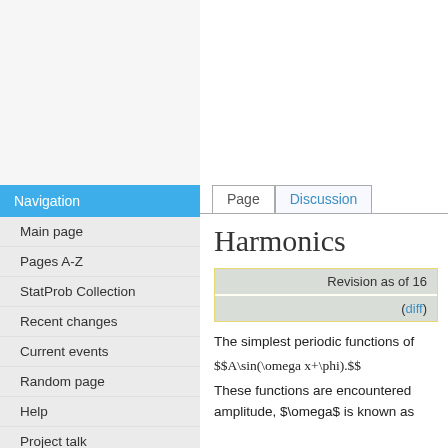Navigation
Main page
Pages A-Z
StatProb Collection
Recent changes
Current events
Random page
Help
Project talk
Request account
Harmonics
Revision as of 16...
(diff)
The simplest periodic functions of
These functions are encountered amplitude, $\omega$ is known as